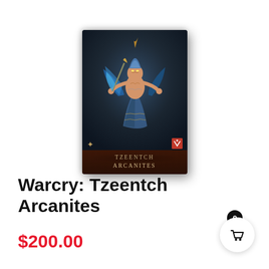[Figure (photo): Product box for Warcry: Tzeentch Arcanites miniatures game set, showing a fantastical creature on a dark box with the text TZEENTCH ARCANITES on the label]
Warcry: Tzeentch Arcanites
$200.00